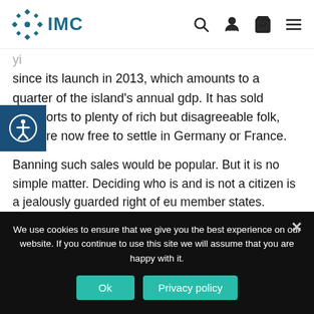IMC
since its launch in 2013, which amounts to a quarter of the island's annual gdp. It has sold passports to plenty of rich but disagreeable folk, who are now free to settle in Germany or France.
Banning such sales would be popular. But it is no simple matter. Deciding who is and is not a citizen is a jealously guarded right of eu member states. All eu countries issue passports for reasons beyond the bog-standard naturalisation of those who marry
We use cookies to ensure that we give you the best experience on our website. If you continue to use this site we will assume that you are happy with it.